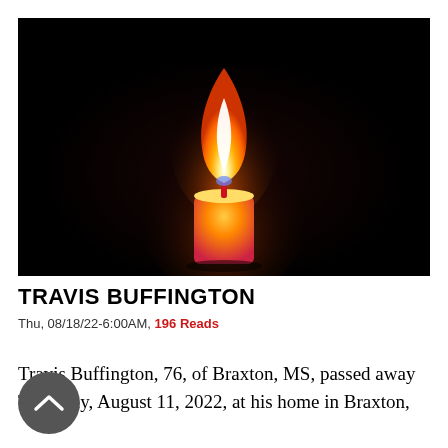[Figure (photo): A lit candle with an orange-yellow flame against a black background. The candle body is orange-red gradient.]
TRAVIS BUFFINGTON
Thu, 08/18/22-6:00AM, 196 Reads
Travis Buffington, 76, of Braxton, MS, passed away Thursday, August 11, 2022, at his home in Braxton,